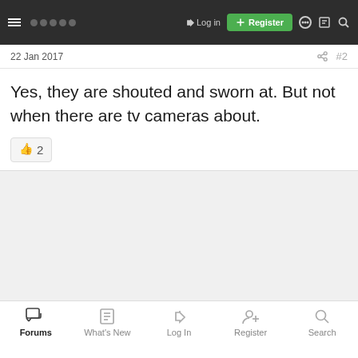Log in | Register (nav bar)
22 Jan 2017   #2
Yes, they are shouted and sworn at. But not when there are tv cameras about.
Forums | What's New | Log In | Register | Search